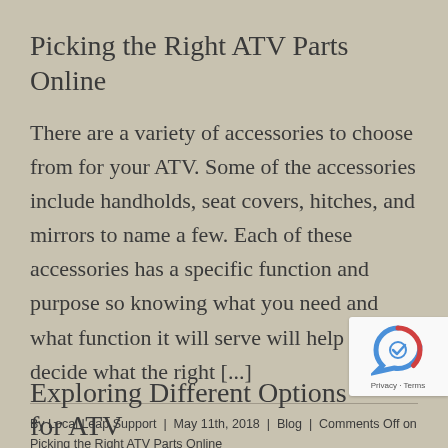Picking the Right ATV Parts Online
There are a variety of accessories to choose from for your ATV. Some of the accessories include handholds, seat covers, hitches, and mirrors to name a few. Each of these accessories has a specific function and purpose so knowing what you need and what function it will serve will help you decide what the right [...]
By Local Leap Support | May 11th, 2018 | Blog | Comments Off on Picking the Right ATV Parts Online
Read More >
Exploring Different Options for ATV